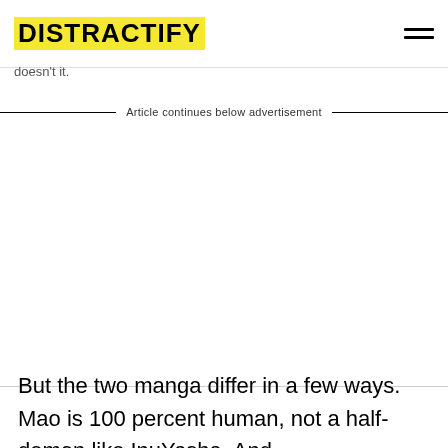DISTRACTIFY
doesn't it.
Article continues below advertisement
But the two manga differ in a few ways. Mao is 100 percent human, not a half-demon like InuYasha. And